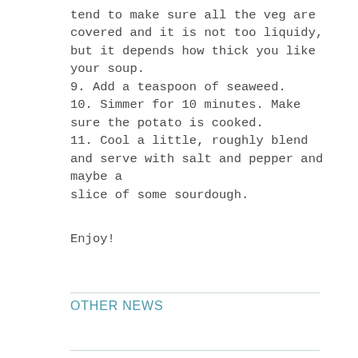tend to make sure all the veg are covered and it is not too liquidy, but it depends how thick you like your soup.
9. Add a teaspoon of seaweed.
10. Simmer for 10 minutes. Make sure the potato is cooked.
11. Cool a little, roughly blend and serve with salt and pepper and maybe a slice of some sourdough.
Enjoy!
OTHER NEWS